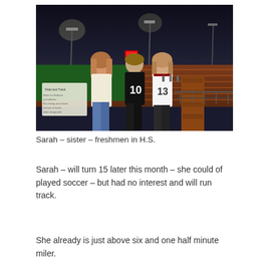[Figure (photo): Three young women posing together at an outdoor athletic track at night. The middle person wears a black jersey with number 10, and the person on the right wears a white jersey with number 13. Stadium lights illuminate the track and field in the background. A sign reading 'Field and Track' is visible on the left.]
Sarah – sister – freshmen in H.S.
Sarah – will turn 15 later this month – she could of played soccer – but had no interest and will run track.
She already is just above six and one half minute miler.